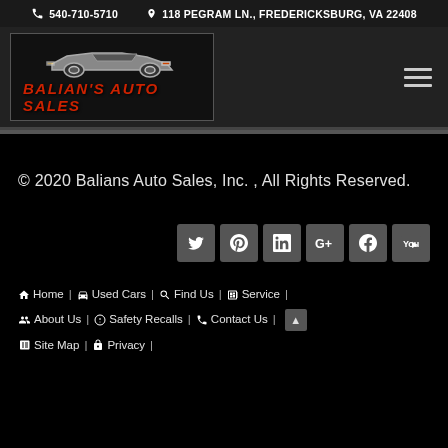📞 540-710-5710   📍 118 PEGRAM LN., FREDERICKSBURG, VA 22408
[Figure (logo): Balian's Auto Sales logo with red text and car silhouette on dark background]
© 2020 Balians Auto Sales, Inc. , All Rights Reserved.
[Figure (infographic): Social media icon buttons: Twitter, Pinterest, LinkedIn, Google+, Facebook, YouTube]
Home | Used Cars | Find Us | Service | About Us | Safety Recalls | Contact Us | Site Map | Privacy |